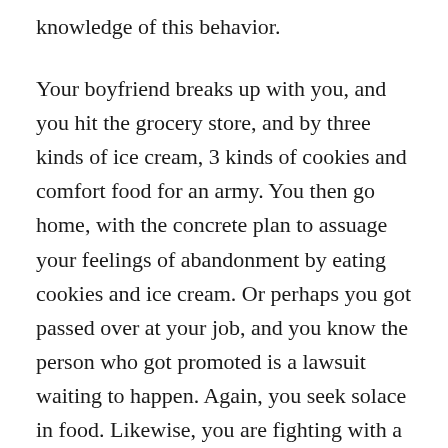knowledge of this behavior.
Your boyfriend breaks up with you, and you hit the grocery store, and by three kinds of ice cream, 3 kinds of cookies and comfort food for an army. You then go home, with the concrete plan to assuage your feelings of abandonment by eating cookies and ice cream. Or perhaps you got passed over at your job, and you know the person who got promoted is a lawsuit waiting to happen. Again, you seek solace in food. Likewise, you are fighting with a sibling